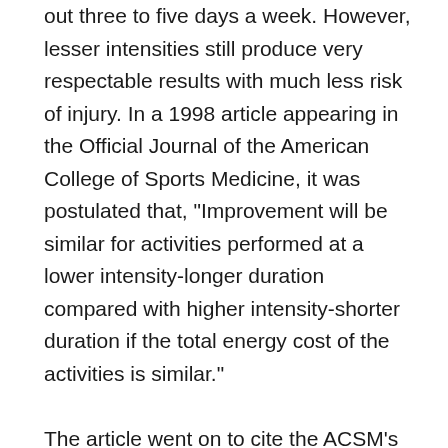out three to five days a week. However, lesser intensities still produce very respectable results with much less risk of injury. In a 1998 article appearing in the Official Journal of the American College of Sports Medicine, it was postulated that, "Improvement will be similar for activities performed at a lower intensity-longer duration compared with higher intensity-shorter duration if the total energy cost of the activities is similar."

The article went on to cite the ACSM's position that, "Higher-intensity exercise is associated with greater cardiovascular risk and orthopaedic injury." The article's seven co-authors concurred in the conclusion that "programs emphasizing moderate-intensity training with longer duration are recommended for most adults, because a high proportion of the adult population is sedentary and has at least one risk factor for